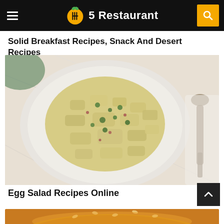5Restaurant
Solid Breakfast Recipes, Snack And Desert Recipes
[Figure (photo): Overhead view of egg salad served on a white plate on a marble surface, with a spoon visible to the right]
Egg Salad Recipes Online
[Figure (photo): Partial view of a food item at the bottom of the page, appears to be a burger or sandwich with sesame seed bun]